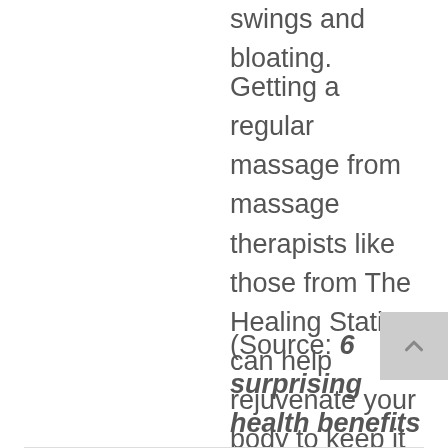swings and bloating.
Getting a regular massage from massage therapists like those from The Healing Station, can help rejuvenate your body to keep it in top shape. It can also prevent most health conditions from worsening and other complications from developing.
(Source: 6 surprising health benefits of massage therapy, Reader's Digest Best Health)